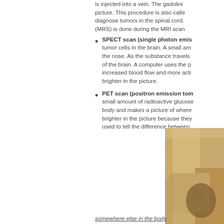is injected into a vein. The gadolinium picture. This procedure is also called diagnose tumors in the spinal cord. (MRS) is done during the MRI scan
SPECT scan (single photon emis tumor cells in the brain. A small am the nose. As the substance travels of the brain. A computer uses the p increased blood flow and more acti brighter in the picture.
PET scan (positron emission tom small amount of radioactive glucose body and makes a picture of where brighter in the picture because they used to tell the difference between
[Figure (photo): Partial view of a medical illustration or photo, showing warm brown/tan tones, partially cropped at the right edge of the page]
somewhere else in the body